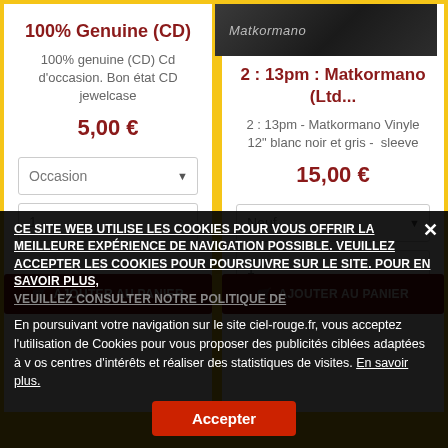100% Genuine (CD)
100% genuine (CD) Cd d'occasion. Bon état CD jewelcase
5,00 €
2 : 13pm : Matkormano (Ltd...
2 : 13pm - Matkormano Vinyle 12" blanc noir et gris -  sleeve
15,00 €
CE SITE WEB UTILISE LES COOKIES POUR VOUS OFFRIR LA MEILLEURE EXPÉRIENCE DE NAVIGATION POSSIBLE. VEUILLEZ ACCEPTER LES COOKIES POUR POURSUIVRE SUR LE SITE. POUR EN SAVOIR PLUS, VEUILLEZ CONSULTER NOTRE POLITIQUE DE
En poursuivant votre navigation sur le site ciel-rouge.fr, vous acceptez l'utilisation de Cookies pour vous proposer des publicités ciblées adaptées à v os centres d'intérêts et réaliser des statistiques de visites. En savoir plus.
Accepter